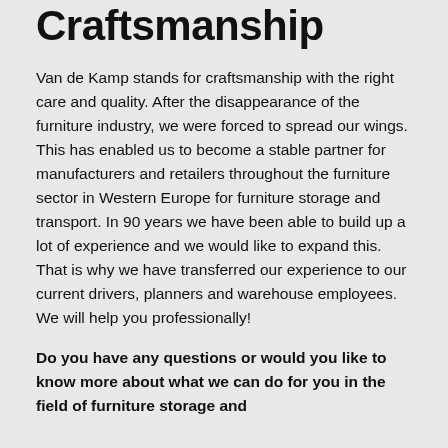Craftsmanship
Van de Kamp stands for craftsmanship with the right care and quality. After the disappearance of the furniture industry, we were forced to spread our wings. This has enabled us to become a stable partner for manufacturers and retailers throughout the furniture sector in Western Europe for furniture storage and transport. In 90 years we have been able to build up a lot of experience and we would like to expand this. That is why we have transferred our experience to our current drivers, planners and warehouse employees. We will help you professionally!
Do you have any questions or would you like to know more about what we can do for you in the field of furniture storage and